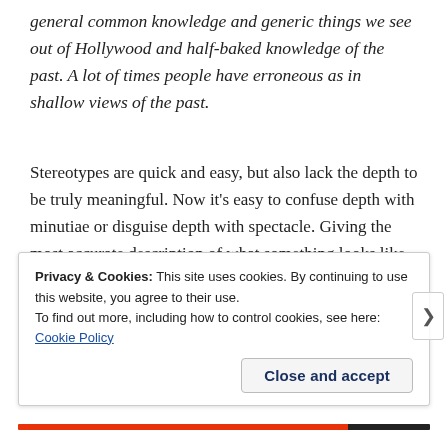general common knowledge and generic things we see out of Hollywood and half-baked knowledge of the past. A lot of times people have erroneous as in shallow views of the past.
Stereotypes are quick and easy, but also lack the depth to be truly meaningful. Now it's easy to confuse depth with minutiae or disguise depth with spectacle. Giving the most accurate description of what something looks like or imploring the reader to look at that awesome
Privacy & Cookies: This site uses cookies. By continuing to use this website, you agree to their use.
To find out more, including how to control cookies, see here: Cookie Policy